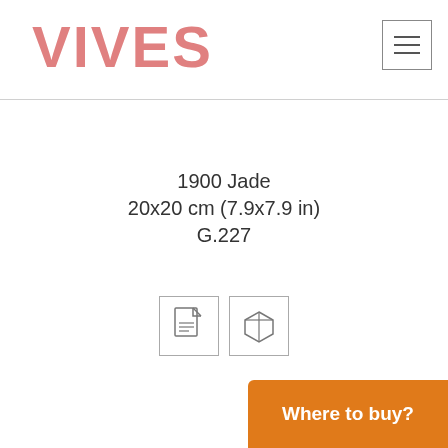VIVES
1900 Jade
20x20 cm (7.9x7.9 in)
G.227
[Figure (infographic): Two icon buttons side by side: a document/datasheet icon and a box/3D-model icon, both in outlined square borders]
Where to buy?